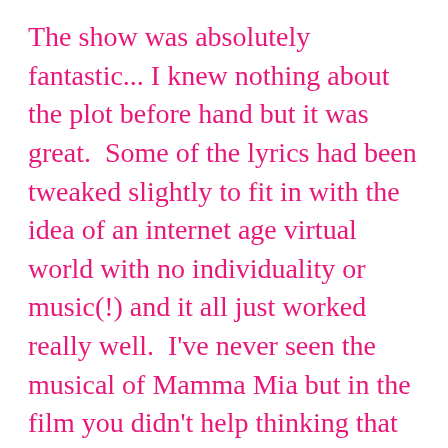The show was absolutely fantastic... I knew nothing about the plot before hand but it was great.  Some of the lyrics had been tweaked slightly to fit in with the idea of an internet age virtual world with no individuality or music(!) and it all just worked really well.  I've never seen the musical of Mamma Mia but in the film you didn't help thinking that in one or two places they were reaching a little just to fit certain songs in.  That wasn't the case at all with We Will Rock You.  Ever.
The singers were really strong too and the syncronised dancing like autonomitons was great.  In a lot of shows they do similar stuff but these people were literally beat on beat